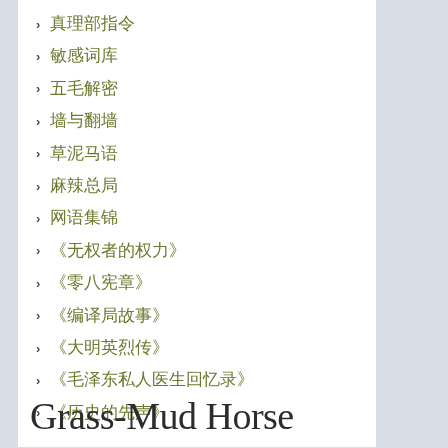真理部指令
敏感词库
五毛解密
墙与翻墙
草泥马语
麻辣总局
网语集锦
《无权者的权力》
《零八宪章》
《编译局故事》
《大明英烈传》
《毛泽东私人医生回忆录》
《历史的先声》
Grass-Mud Horse